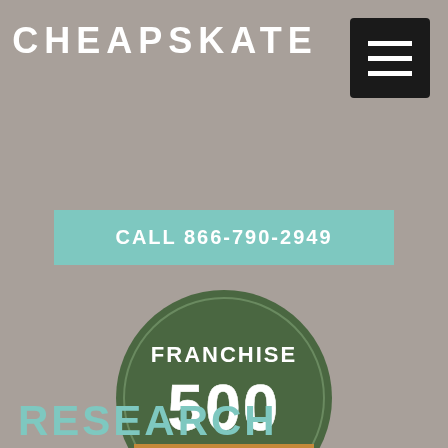CHEAPSKATE
[Figure (logo): Franchise 500 badge - dark green circle with 'FRANCHISE 500' text, a tan/gold ribbon banner reading 'RANKED #1 IN CATEGORY', and '2022' with stars at the bottom]
CALL 866-790-2949
RESEARCH